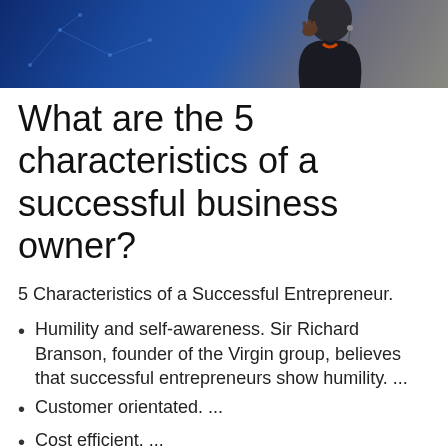[Figure (photo): Person in dark jacket with hand raised near face, against a blue background with abstract network pattern]
What are the 5 characteristics of a successful business owner?
5 Characteristics of a Successful Entrepreneur.
Humility and self-awareness. Sir Richard Branson, founder of the Virgin group, believes that successful entrepreneurs show humility. ...
Customer orientated. ...
Cost efficient. ...
Highly adaptable and future orientated. ...